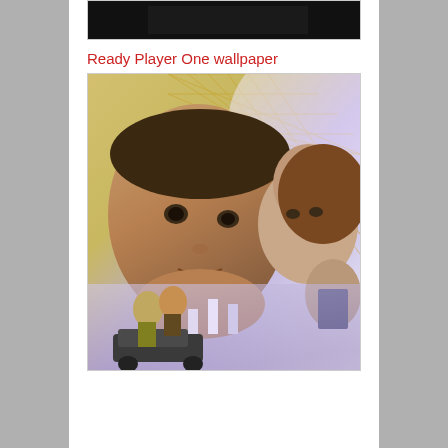[Figure (photo): Dark/black image at the top of the page, partially visible movie screenshot]
Ready Player One wallpaper
[Figure (photo): Ready Player One movie poster wallpaper showing main character with VR goggles on his forehead, a female character behind him, and other characters below including a DeLorean car at the bottom. Background has a glowing grid pattern.]